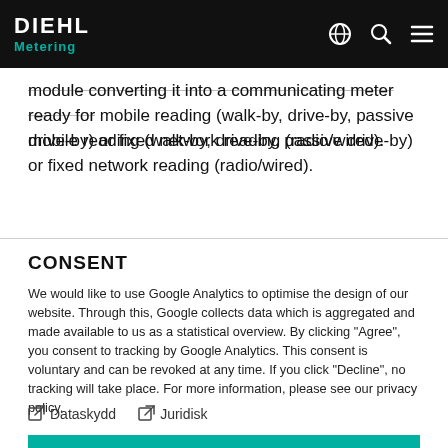DIEHL Metering
module converting it into a communicating meter ready for mobile reading (walk-by, drive-by, passive drive-by) or fixed network reading (radio/wired).
CONSENT
We would like to use Google Analytics to optimise the design of our website. Through this, Google collects data which is aggregated and made available to us as a statistical overview. By clicking "Agree", you consent to tracking by Google Analytics. This consent is voluntary and can be revoked at any time. If you click "Decline", no tracking will take place. For more information, please see our privacy policy.
Dataskydd
Juridisk
ACCEPT
DECLINE